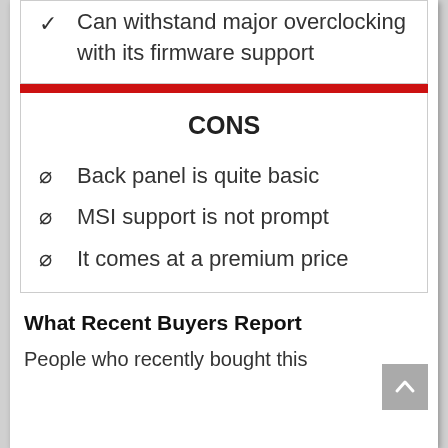✓ Can withstand major overclocking with its firmware support
CONS
∅ Back panel is quite basic
∅ MSI support is not prompt
∅ It comes at a premium price
What Recent Buyers Report
People who recently bought this